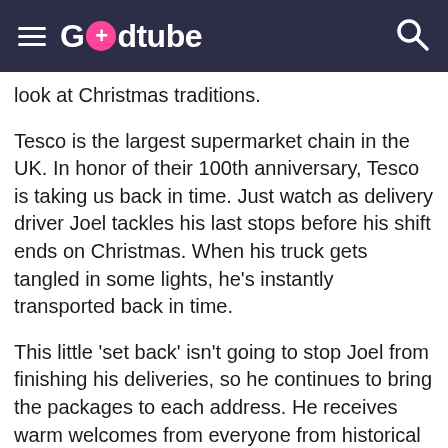Godtube
look at Christmas traditions.
Tesco is the largest supermarket chain in the UK. In honor of their 100th anniversary, Tesco is taking us back in time. Just watch as delivery driver Joel tackles his last stops before his shift ends on Christmas. When his truck gets tangled in some lights, he's instantly transported back in time.
This little 'set back' isn't going to stop Joel from finishing his deliveries, so he continues to bring the packages to each address. He receives warm welcomes from everyone from historical figures to popular game show hosts. Each person is overjoyed to receive a box from Tesco.
No matter the time or place, Tesco has always been there for families during the Christmas season. Alessandra Bellini, the Tesco Chief Customer